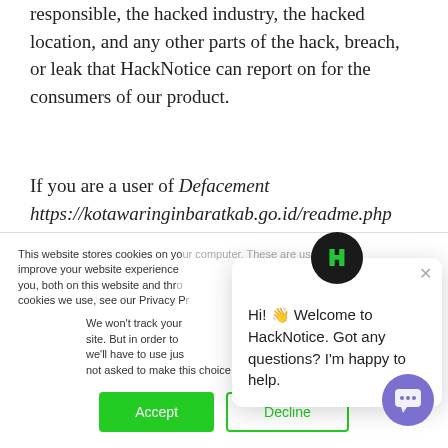responsible, the hacked industry, the hacked location, and any other parts of the hack, breach, or leak that HackNotice can report on for the consumers of our product.
If you are a user of Defacement https://kotawaringinbaratkab.go.id/readme.php their products, services, websites, or applications and you
This website stores cookies on your computer. These are used to improve your website experience you, both on this website and through cookies we use, see our Privacy P
We won't track your site. But in order to we'll have to use jus not asked to make this choice again.
Accept
Decline
[Figure (other): Chat popup widget from HackNotice with avatar logo showing H letter in green/blue, close X button, and text: Hi! Welcome to HackNotice. Got any questions? I'm happy to help.]
[Figure (other): Purple round chat button at bottom right corner]